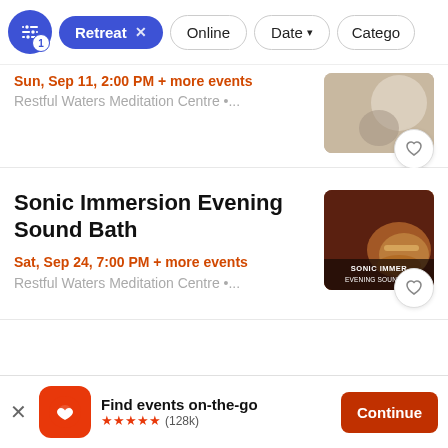[Figure (screenshot): Filter bar with icons: filter button with badge '1', active 'Retreat x' chip, 'Online' chip, 'Date v' chip, 'Catego' chip (truncated)]
Sun, Sep 11, 2:00 PM + more events
Restful Waters Meditation Centre •...
Sonic Immersion Evening Sound Bath
Sat, Sep 24, 7:00 PM + more events
Restful Waters Meditation Centre •...
Find events on-the-go
★★★★★ (128k)
Continue